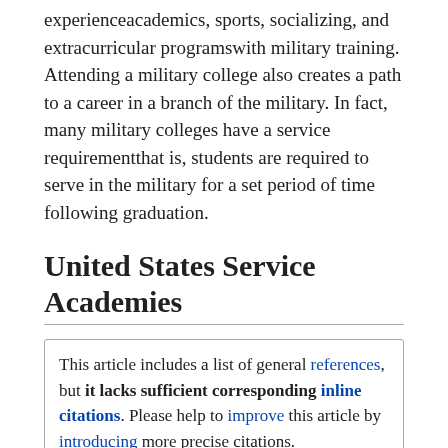experienceacademics, sports, socializing, and extracurricular programswith military training. Attending a military college also creates a path to a career in a branch of the military. In fact, many military colleges have a service requirementthat is, students are required to serve in the military for a set period of time following graduation.
United States Service Academies
This article includes a list of general references, but it lacks sufficient corresponding inline citations. Please help to improve this article by introducing more precise citations.
The United States service academies, also known